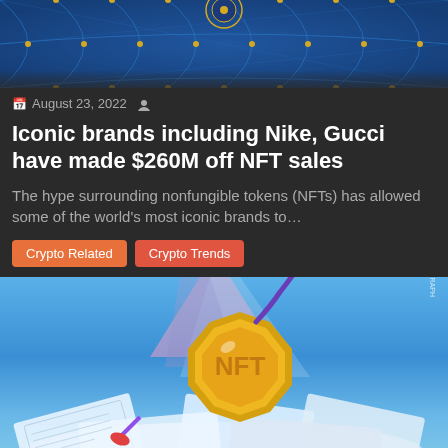[Figure (illustration): Decorative blue and gold geometric pattern with interconnected nodes, used as article header image]
August 23, 2022
Iconic brands including Nike, Gucci have made $260M off NFT sales
The hype surrounding nonfungible tokens (NFTs) has allowed some of the world's most iconic brands to…
Crypto Related
Crypto Trends
[Figure (illustration): Cartoon illustration of a golden cryptocurrency coin with NFT symbol sitting atop a pile of newspapers, with a purple fuse attached, sky background with pink light rays]